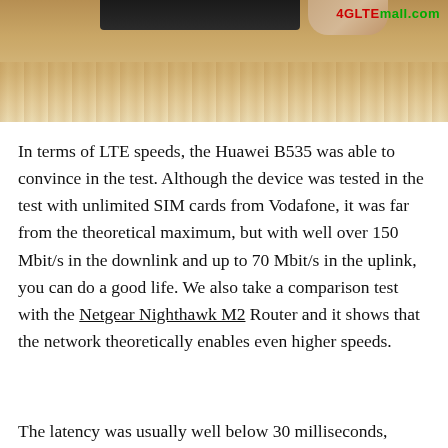[Figure (photo): Photo of a Huawei B535 router device on a wooden surface, with a hand partially visible. Watermark '4GLTEmall.com' in red and green text in the top right corner.]
In terms of LTE speeds, the Huawei B535 was able to convince in the test. Although the device was tested in the test with unlimited SIM cards from Vodafone, it was far from the theoretical maximum, but with well over 150 Mbit/s in the downlink and up to 70 Mbit/s in the uplink, you can do a good life. We also take a comparison test with the Netgear Nighthawk M2 Router and it shows that the network theoretically enables even higher speeds.
The latency was usually well below 30 milliseconds,